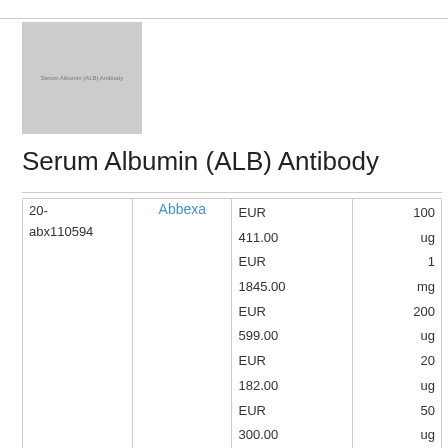[Figure (photo): Product image placeholder (gray box) for Serum Albumin (ALB) Antibody with small label text inside]
Serum Albumin (ALB) Antibody
| ID | Supplier | Price | Quantity |
| --- | --- | --- | --- |
| 20-abx110594 | Abbexa | EUR 411.00 | 100 ug |
|  |  | EUR 1845.00 | 1 mg |
|  |  | EUR 599.00 | 200 ug |
|  |  | EUR 182.00 | 20 ug |
|  |  | EUR 300.00 | 50 ug |